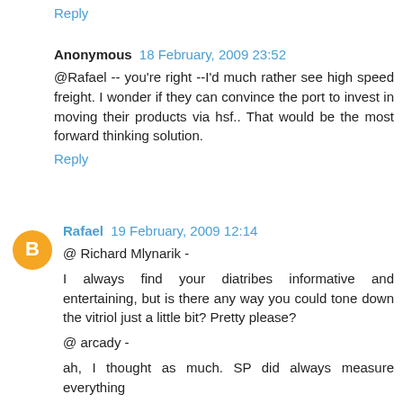Reply
Anonymous  18 February, 2009 23:52
@Rafael -- you're right --I'd much rather see high speed freight. I wonder if they can convince the port to invest in moving their products via hsf.. That would be the most forward thinking solution.
Reply
Rafael  19 February, 2009 12:14
@ Richard Mlynarik -
I always find your diatribes informative and entertaining, but is there any way you could tone down the vitriol just a little bit? Pretty please?
@ arcady -
ah, I thought as much. SP did always measure everything